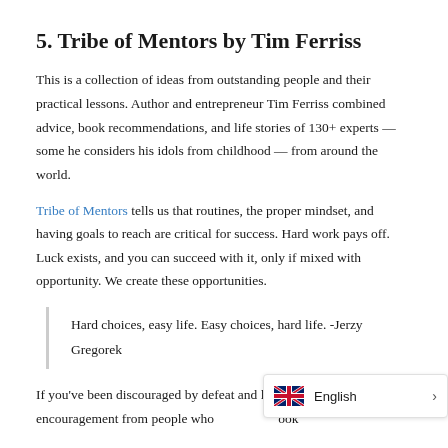5. Tribe of Mentors by Tim Ferriss
This is a collection of ideas from outstanding people and their practical lessons. Author and entrepreneur Tim Ferriss combined advice, book recommendations, and life stories of 130+ experts — some he considers his idols from childhood — from around the world.
Tribe of Mentors tells us that routines, the proper mindset, and having goals to reach are critical for success. Hard work pays off. Luck exists, and you can succeed with it, only if mixed with opportunity. We create these opportunities.
Hard choices, easy life. Easy choices, hard life.  -Jerzy Gregorek
If you've been discouraged by defeat and looking for encouragement from people who have been ... book